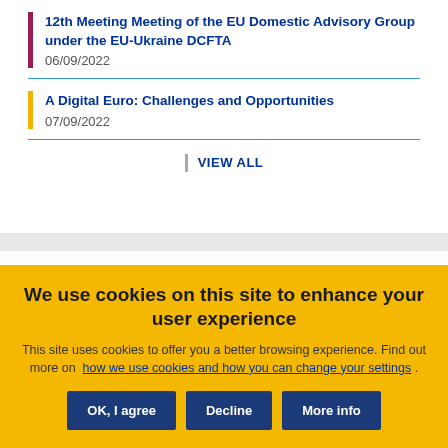12th Meeting Meeting of the EU Domestic Advisory Group under the EU-Ukraine DCFTA
06/09/2022
A Digital Euro: Challenges and Opportunities
07/09/2022
VIEW ALL
We use cookies on this site to enhance your user experience
This site uses cookies to offer you a better browsing experience. Find out more on how we use cookies and how you can change your settings .
OK, I agree | Decline | More info